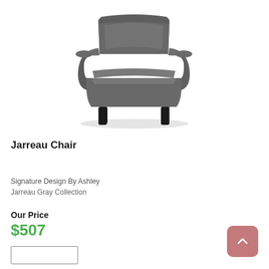[Figure (photo): Gray upholstered armchair with dark wooden legs, viewed from a slight angle. The chair has wide arms, a cushioned seat and back, and a modern mid-century style.]
Jarreau Chair
Signature Design By Ashley
Jarreau Gray Collection
Our Price
$507